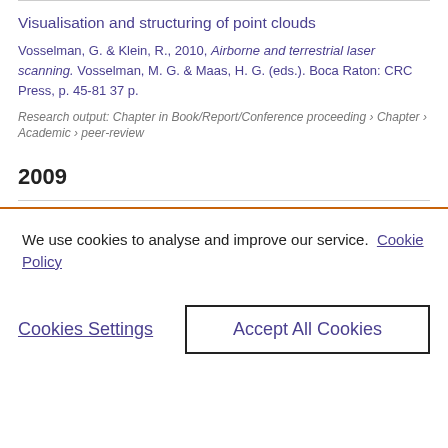Visualisation and structuring of point clouds
Vosselman, G. & Klein, R., 2010, Airborne and terrestrial laser scanning. Vosselman, M. G. & Maas, H. G. (eds.). Boca Raton: CRC Press, p. 45-81 37 p.
Research output: Chapter in Book/Report/Conference proceeding › Chapter › Academic › peer-review
2009
We use cookies to analyse and improve our service. Cookie Policy
Cookies Settings
Accept All Cookies